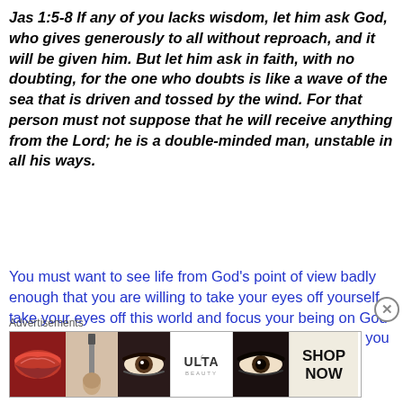Jas 1:5-8 If any of you lacks wisdom, let him ask God, who gives generously to all without reproach, and it will be given him. But let him ask in faith, with no doubting, for the one who doubts is like a wave of the sea that is driven and tossed by the wind. For that person must not suppose that he will receive anything from the Lord; he is a double-minded man, unstable in all his ways.
You must want to see life from God's point of view badly enough that you are willing to take your eyes off yourself, take your eyes off this world and focus your being on God and what He has for your life. If you ask for wisdom, if you
Advertisements
[Figure (photo): Advertisement banner for ULTA beauty showing close-up photos of lips with red lipstick, a makeup brush, an eye with dark liner, the ULTA logo, another eye with liner, and a 'SHOP NOW' call to action.]